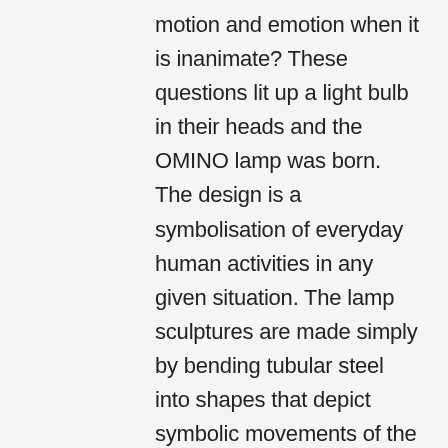motion and emotion when it is inanimate? These questions lit up a light bulb in their heads and the OMINO lamp was born. The design is a symbolisation of everyday human activities in any given situation. The lamp sculptures are made simply by bending tubular steel into shapes that depict symbolic movements of the human body. An opaque glass sphere emitting an LED light represents both the human head and mind. OMINO questions the traditional representation of lighting as simply an object for illumination and fuses humanoid figures into a dynamic design. The initial collection consists of six